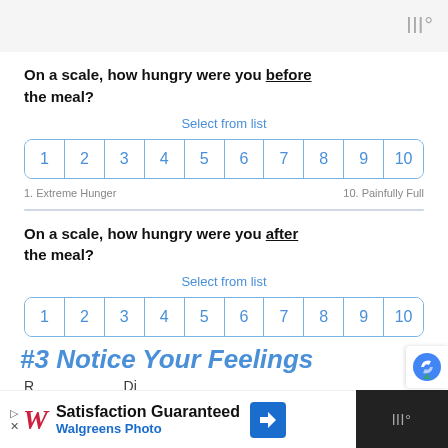www°
On a scale, how hungry were you before the meal?
Select from list
| 1 | 2 | 3 | 4 | 5 | 6 | 7 | 8 | 9 | 10 |
| --- | --- | --- | --- | --- | --- | --- | --- | --- | --- |
1. Extreme Hunger    10. Painfully Full
On a scale, how hungry were you after the meal?
Select from list
| 1 | 2 | 3 | 4 | 5 | 6 | 7 | 8 | 9 | 10 |
| --- | --- | --- | --- | --- | --- | --- | --- | --- | --- |
#3 Notice Your Feelings
Satisfaction Guaranteed Walgreens Photo